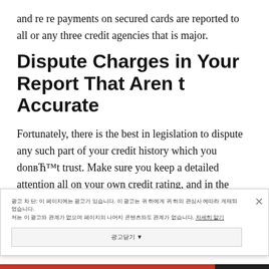and re re payments on secured cards are reported to all or any three credit agencies that is major.
Dispute Charges in Your Report That Aren t Accurate
Fortunately, there is the best in legislation to dispute any such part of your credit history which you donвЋ™t trust. Make sure you keep a detailed attention all on your own credit rating, and in the event that you notice something you think is down, such as a totally free
광고 차 단: 이 페이지에는 광고가 있습니다. 이 광고는 귀 하에게 귀 하의 관심사 에따라 게재되었습니다. 저는 이 광고와 관계가 없으며 페이지의 나머지 콘텐츠와도 관계가 없습니다. 자세히 알기